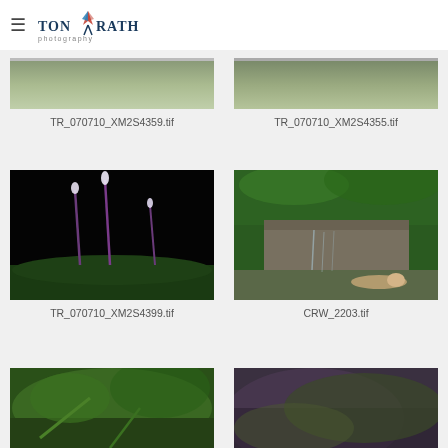Tony Rath Photography
[Figure (photo): Top-cropped landscape photo, partially visible]
TR_070710_XM2S4359.tif
[Figure (photo): Top-cropped landscape photo, partially visible]
TR_070710_XM2S4355.tif
[Figure (photo): Plant stalks/flowers against black background]
TR_070710_XM2S4399.tif
[Figure (photo): Jungle waterfall scene with person lying in water]
CRW_2203.tif
[Figure (photo): Jungle/forest scene, partially visible at bottom]
[Figure (photo): Blurred close-up of plant/leaf, partially visible at bottom]